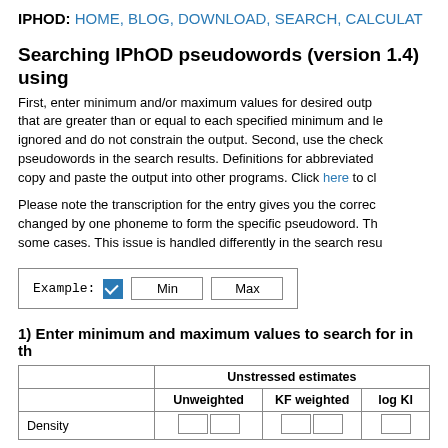IPHOD: HOME, BLOG, DOWNLOAD, SEARCH, CALCULAT...
Searching IPhOD pseudowords (version 1.4) using...
First, enter minimum and/or maximum values for desired output that are greater than or equal to each specified minimum and le... ignored and do not constrain the output. Second, use the check... pseudowords in the search results. Definitions for abbreviated... copy and paste the output into other programs. Click here to cl...
Please note the transcription for the entry gives you the correc... changed by one phoneme to form the specific pseudoword. Th... some cases. This issue is handled differently in the search resu...
[Figure (other): Example input box with checkbox, Min field, and Max field]
1) Enter minimum and maximum values to search for in th...
|  | Unstressed estimates |  |  |
| --- | --- | --- | --- |
|  | Unweighted | KF weighted | log Kl... |
| Density |  |  |  |